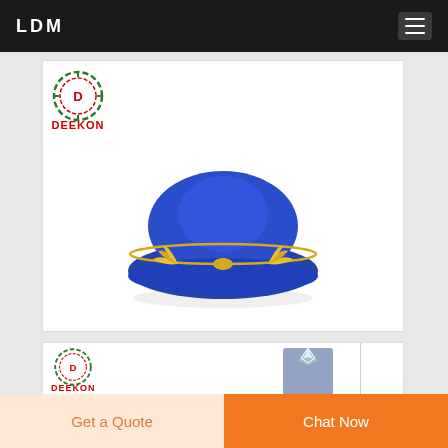LDM
[Figure (photo): DEEKON branded product card showing a blue airline stewardess pillbox hat with gold wing emblem and gold trim stripe, on white background]
[Figure (photo): Partial DEEKON branded product card showing a gray uniform jacket on a mannequin torso]
Get a Quote
Chat Now